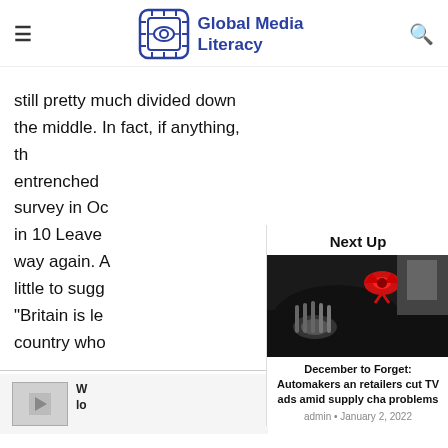Global Media Literacy
still pretty much divided down the middle. In fact, if anything, th entrenched survey in Oc in 10 Leave way again. A little to sugg "Britain is le country who
Next Up
[Figure (photo): Black car with red bow on hood, displayed in a showroom]
December to Forget: Automakers and retailers cut TV ads amid supply chain problems
admin • January 2, 2022
[Figure (photo): Small thumbnail preview image]
W lo